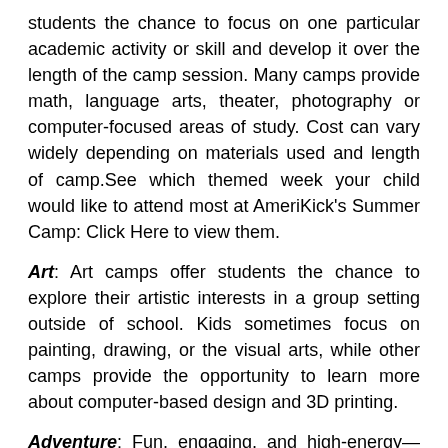students the chance to focus on one particular academic activity or skill and develop it over the length of the camp session. Many camps provide math, language arts, theater, photography or computer-focused areas of study. Cost can vary widely depending on materials used and length of camp.See which themed week your child would like to attend most at AmeriKick's Summer Camp: Click Here to view them.
Art: Art camps offer students the chance to explore their artistic interests in a group setting outside of school. Kids sometimes focus on painting, drawing, or the visual arts, while other camps provide the opportunity to learn more about computer-based design and 3D printing.
Adventure: Fun, engaging, and high-energy—these camps are great for exploring new experiences. Think of it like a traditional boot camp…but with